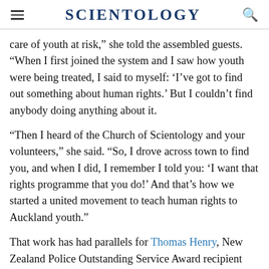SCIENTOLOGY
care of youth at risk,” she told the assembled guests. “When I first joined the system and I saw how youth were being treated, I said to myself: ‘I’ve got to find out something about human rights.’ But I couldn’t find anybody doing anything about it.
“Then I heard of the Church of Scientology and your volunteers,” she said. “So, I drove across town to find you, and when I did, I remember I told you: ‘I want that rights programme that you do!’ And that’s how we started a united movement to teach human rights to Auckland youth.”
That work has had parallels for Thomas Henry, New Zealand Police Outstanding Service Award recipient and a tireless advocate against the abuse of psychiatric medications and for responsible mental health care in the country. “I deal with families who have been